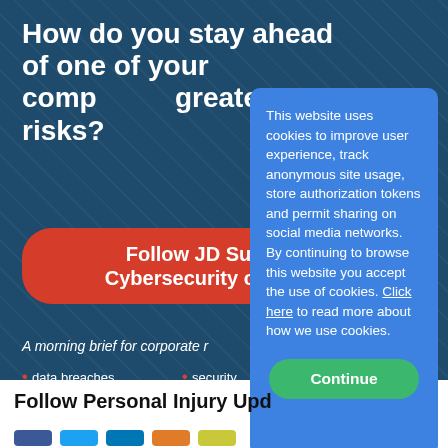[Figure (screenshot): Dark blue banner with cybersecurity channel promotion for JD Supra, showing title 'How do you stay ahead of one of your company's greatest risks?', a red button 'Follow JD Supra's Cybersecurity channel', subtext 'A morning brief for corporate risk managers' and bullet list items: data breaches, security, privacy, risk management, compliance, global regulations, all other cybersecurity matters]
This website uses cookies to improve user experience, track anonymous site usage, store authorization tokens and permit sharing on social media networks. By continuing to browse this website you accept the use of cookies. Click here to read more about how we use cookies.
Continue
Follow Personal Injury Updates on...